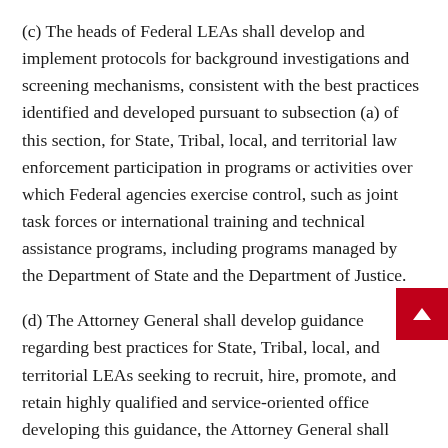(c) The heads of Federal LEAs shall develop and implement protocols for background investigations and screening mechanisms, consistent with the best practices identified and developed pursuant to subsection (a) of this section, for State, Tribal, local, and territorial law enforcement participation in programs or activities over which Federal agencies exercise control, such as joint task forces or international training and technical assistance programs, including programs managed by the Department of State and the Department of Justice.
(d) The Attorney General shall develop guidance regarding best practices for State, Tribal, local, and territorial LEAs seeking to recruit, hire, promote, and retain highly qualified and service-oriented officers. In developing this guidance, the Attorney General shall consult with State, Tribal, local, and territorial law enforcement, as appropriate, and shall incorporate the